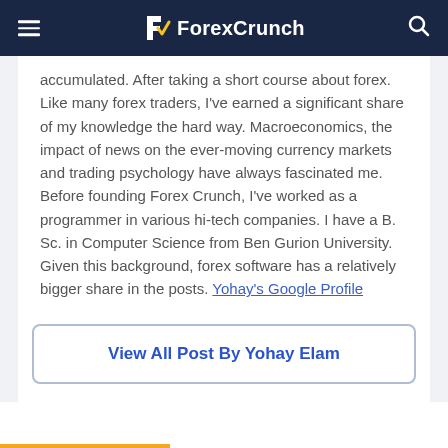ForexCrunch
accumulated. After taking a short course about forex. Like many forex traders, I've earned a significant share of my knowledge the hard way. Macroeconomics, the impact of news on the ever-moving currency markets and trading psychology have always fascinated me. Before founding Forex Crunch, I've worked as a programmer in various hi-tech companies. I have a B. Sc. in Computer Science from Ben Gurion University. Given this background, forex software has a relatively bigger share in the posts. Yohay's Google Profile
View All Post By Yohay Elam